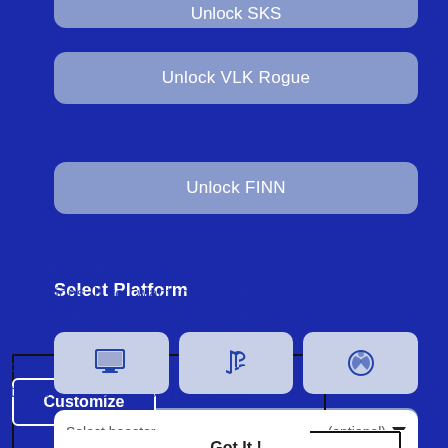Unlock SKS (partial, top)
Unlock VLK Rogue
Unlock FINN
Select Platform
to its third party tools operations. If you want to know more please refer to the cookie policy. By closing this banner, scrolling this page, clicking a link or continuing to browse otherwise, you agree to the use of cookies.
[Figure (screenshot): Platform selection buttons with PC monitor icon, PlayStation icon, and Xbox icon]
Private streaming (+10%)
Customize
Learn more
Select booster          (optional)
Got It !